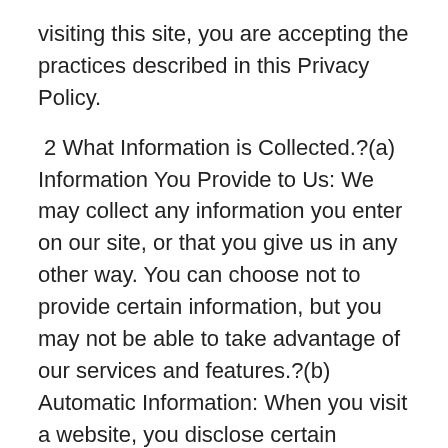visiting this site, you are accepting the practices described in this Privacy Policy.
2 What Information is Collected.?(a) Information You Provide to Us: We may collect any information you enter on our site, or that you give us in any other way. You can choose not to provide certain information, but you may not be able to take advantage of our services and features.?(b) Automatic Information: When you visit a website, you disclose certain information, such as your Internet Protocol (IP) address and the time of your visit. This site, like many other sites, records this basic information about visits to our site.?(c) "Cookies": Cookies are pieces of information that are transferred to your computer from a web server.